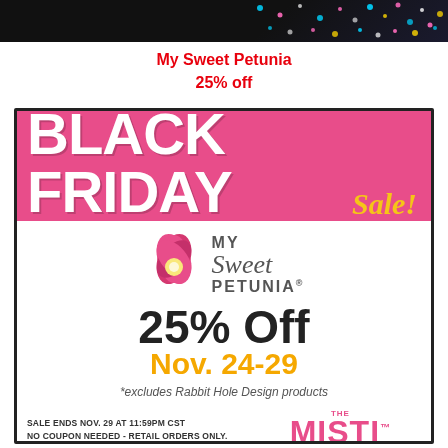[Figure (illustration): Black banner with colorful confetti dots at the top of the page]
My Sweet Petunia
25% off
[Figure (illustration): Black Friday Sale advertisement for My Sweet Petunia. Pink banner with white bold BLACK FRIDAY text and gold italic Sale! text. Below: My Sweet Petunia logo with pink flower, 25% Off in bold black, Nov. 24-29 in gold, *excludes Rabbit Hole Design products in italic gray, footer with sale terms and MISTI logo in pink.]
25% Off
Nov. 24-29
*excludes Rabbit Hole Design products
SALE ENDS Nov. 29 AT 11:59PM CST
NO COUPON NEEDED - RETAIL ORDERS ONLY.
NOT RETROACTIVE